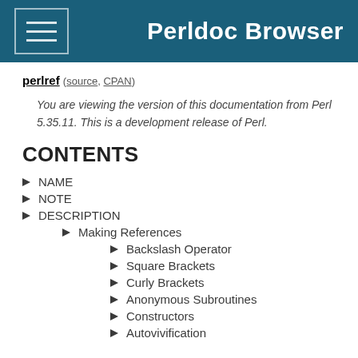Perldoc Browser
perlref (source, CPAN)
You are viewing the version of this documentation from Perl 5.35.11. This is a development release of Perl.
CONTENTS
NAME
NOTE
DESCRIPTION
Making References
Backslash Operator
Square Brackets
Curly Brackets
Anonymous Subroutines
Constructors
Autovivification